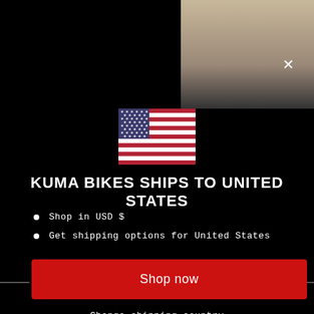[Figure (photo): Top-right corner product photo showing a bag/backpack with beige straps and dark body, partially visible]
[Figure (illustration): American flag emoji/icon centered on the modal]
KUMA BIKES SHIPS TO UNITED STATES
Shop in USD $
Get shipping options for United States
Shop now
Change shipping country
Terms of Service
Refund policy